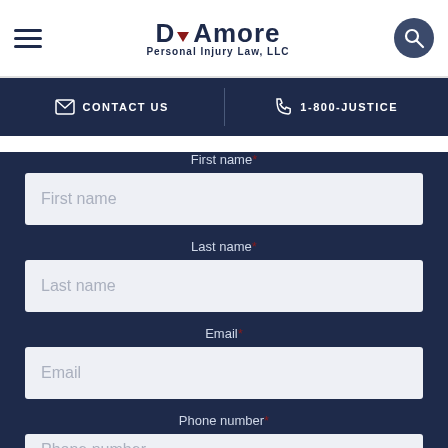D'Amore Personal Injury Law, LLC
CONTACT US | 1-800-JUSTICE
First name*
Last name*
Email*
Phone number*